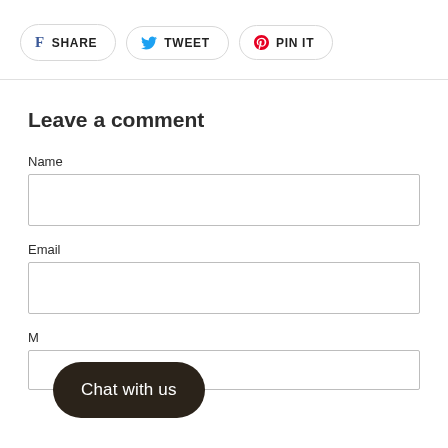[Figure (other): Social share buttons row: Facebook SHARE, Twitter TWEET, Pinterest PIN IT]
Leave a comment
Name
[Figure (other): Name input field (empty text box)]
Email
[Figure (other): Email input field (empty text box)]
M
[Figure (other): Message input field (empty text box, partially visible)]
[Figure (other): Chat with us button overlay]